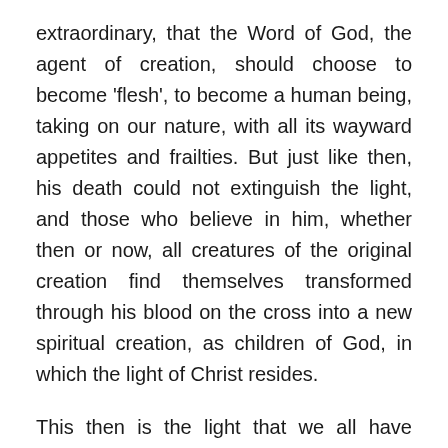extraordinary, that the Word of God, the agent of creation, should choose to become 'flesh', to become a human being, taking on our nature, with all its wayward appetites and frailties. But just like then, his death could not extinguish the light, and those who believe in him, whether then or now, all creatures of the original creation find themselves transformed through his blood on the cross into a new spiritual creation, as children of God, in which the light of Christ resides.
This then is the light that we all have within us as followers of Christ. Even so, for many people there have been times when the surrounding darkness has threatened to overwhelm us, unable to fully imagine the number of deaths related to the Coronavirus, the mental anguish of being parted from loved ones, the exhaustion, the rules,